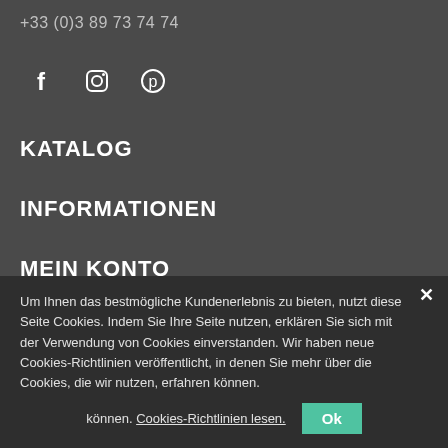+33 (0)3 89 73 74 74
[Figure (other): Social media icons: Facebook (f), Instagram (camera), Pinterest (p)]
KATALOG
INFORMATIONEN
MEIN KONTO
NEWSLETTER
Melden Sie sich zu unserem Newsletter an, um alle Neuigkeiten zu verfolgen
Um Ihnen das bestmögliche Kundenerlebnis zu bieten, nutzt diese Seite Cookies. Indem Sie Ihre Seite nutzen, erklären Sie sich mit der Verwendung von Cookies einverstanden. Wir haben neue Cookies-Richtlinien veröffentlicht, in denen Sie mehr über die Cookies, die wir nutzen, erfahren können. Cookies-Richtlinien lesen.